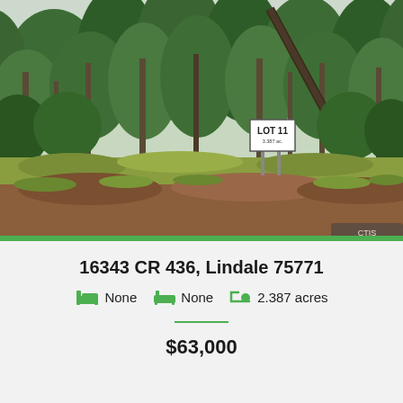[Figure (photo): Outdoor photo of a wooded lot with tall pine trees, green grass and red dirt ground, a white sign in the center reading LOT 11 with acreage text below it, and a leaning tree. Green bar at bottom of photo.]
16343 CR 436, Lindale 75771
None  None  2.387 acres
$63,000